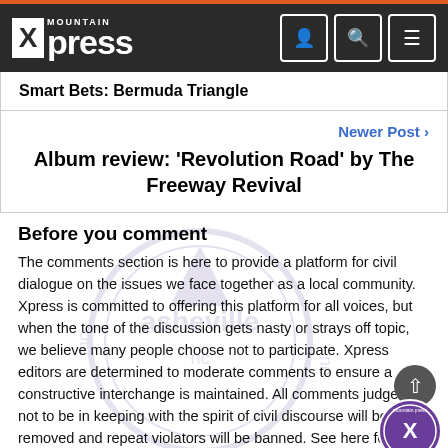Mountain Xpress
Smart Bets: Bermuda Triangle
Newer Post >
Album review: 'Revolution Road' by The Freeway Revival
Before you comment
The comments section is here to provide a platform for civil dialogue on the issues we face together as a local community. Xpress is committed to offering this platform for all voices, but when the tone of the discussion gets nasty or strays off topic, we believe many people choose not to participate. Xpress editors are determined to moderate comments to ensure a constructive interchange is maintained. All comments judged not to be in keeping with the spirit of civil discourse will be removed and repeat violators will be banned. See here for terms of service. Thank you for being part of this effort to